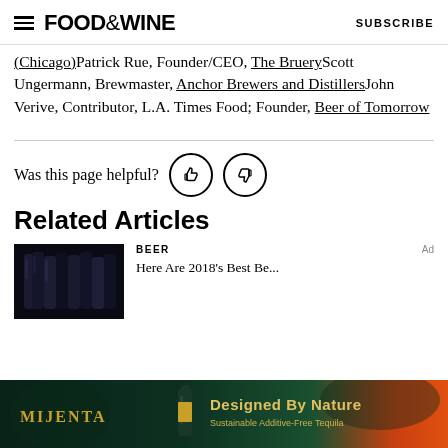FOOD&WINE  SUBSCRIBE
(Chicago)Patrick Rue, Founder/CEO, The BrueryScott Ungermann, Brewmaster, Anchor Brewers and DistillersJohn Verive, Contributor, L.A. Times Food; Founder, Beer of Tomorrow
Was this page helpful?
Related Articles
BEER
[Figure (photo): Dark bottles photo for beer article]
[Figure (photo): Mijenta tequila ad banner — Designed By Nature, Sustainable Additive-Free Tequila]